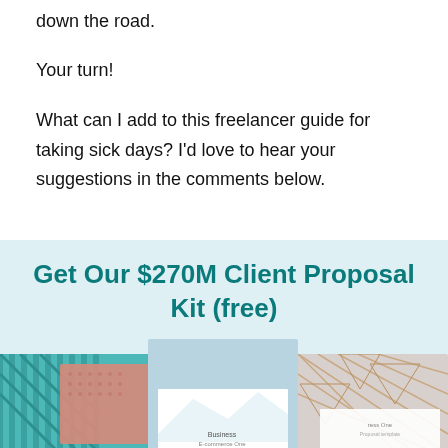down the road.
Your turn!
What can I add to this freelancer guide for taking sick days? I'd love to hear your suggestions in the comments below.
Get Our $270M Client Proposal Kit (free)
[Figure (photo): Three overlapping proposal kit document cover images displayed on a light blue background]